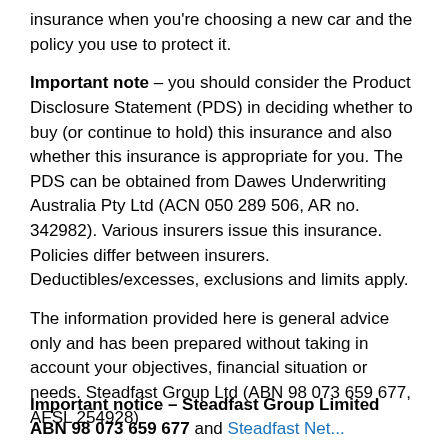insurance when you're choosing a new car and the policy you use to protect it.
Important note – you should consider the Product Disclosure Statement (PDS) in deciding whether to buy (or continue to hold) this insurance and also whether this insurance is appropriate for you. The PDS can be obtained from Dawes Underwriting Australia Pty Ltd (ACN 050 289 506, AR no. 342982). Various insurers issue this insurance. Policies differ between insurers. Deductibles/excesses, exclusions and limits apply.
The information provided here is general advice only and has been prepared without taking in account your objectives, financial situation or needs. Steadfast Group Ltd (ABN 98 073 659 677, AFSL 254928)
Important notice – Steadfast Group Limited ABN 98 073 659 677 and Steadfast Net...